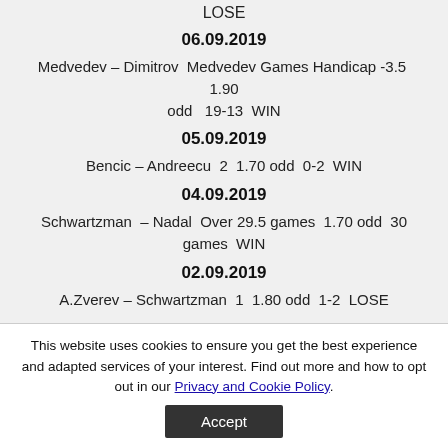LOSE
06.09.2019
Medvedev – Dimitrov  Medvedev Games Handicap -3.5  1.90 odd  19-13  WIN
05.09.2019
Bencic – Andreecu  2  1.70 odd  0-2  WIN
04.09.2019
Schwartzman  – Nadal  Over 29.5 games  1.70 odd  30 games  WIN
02.09.2019
A.Zverev – Schwartzman  1  1.80 odd  1-2  LOSE
This website uses cookies to ensure you get the best experience and adapted services of your interest. Find out more and how to opt out in our Privacy and Cookie Policy.